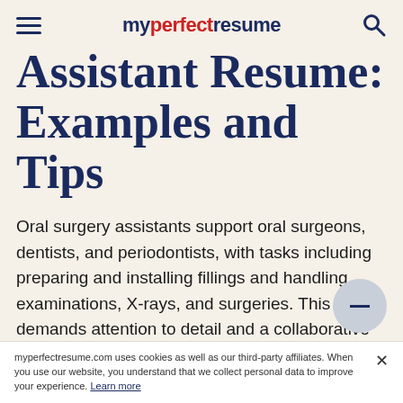myperfectresume
Assistant Resume: Examples and Tips
Oral surgery assistants support oral surgeons, dentists, and periodontists, with tasks including preparing and installing fillings and handling examinations, X-rays, and surgeries. This job demands attention to detail and a collaborative approach.
myperfectresume.com uses cookies as well as our third-party affiliates. When you use our website, you understand that we collect personal data to improve your experience. Learn more